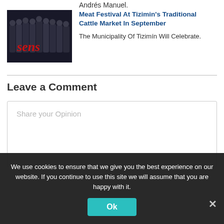Andrés Manuel.
[Figure (photo): Group photo of people in black clothing with red 'sens' script text overlay on dark background]
Meat Festival At Tizimin's Traditional Cattle Market In September
The Municipality Of Tizimín Will Celebrate.
Leave a Comment
Share your Opinion
We use cookies to ensure that we give you the best experience on our website. If you continue to use this site we will assume that you are happy with it.
Ok